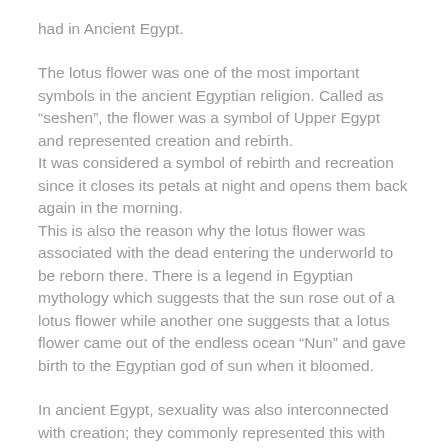had in Ancient Egypt.
The lotus flower was one of the most important symbols in the ancient Egyptian religion. Called as “seshen”, the flower was a symbol of Upper Egypt and represented creation and rebirth.
It was considered a symbol of rebirth and recreation since it closes its petals at night and opens them back again in the morning.
This is also the reason why the lotus flower was associated with the dead entering the underworld to be reborn there. There is a legend in Egyptian mythology which suggests that the sun rose out of a lotus flower while another one suggests that a lotus flower came out of the endless ocean “Nun” and gave birth to the Egyptian god of sun when it bloomed.
In ancient Egypt, sexuality was also interconnected with creation; they commonly represented this with the lotus flower. Since it was thought to be a token of